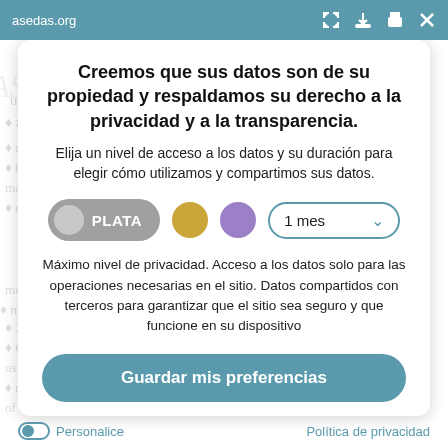asedas.org
Creemos que sus datos son de su propiedad y respaldamos su derecho a la privacidad y a la transparencia.
Elija un nivel de acceso a los datos y su duración para elegir cómo utilizamos y compartimos sus datos.
[Figure (infographic): Tier selector with three circles (PLATA/silver selected, gold, purple) and a dropdown showing '1 mes']
Máximo nivel de privacidad. Acceso a los datos solo para las operaciones necesarias en el sitio. Datos compartidos con terceros para garantizar que el sitio sea seguro y que funcione en su dispositivo
Guardar mis preferencias
Personalice
Política de privacidad